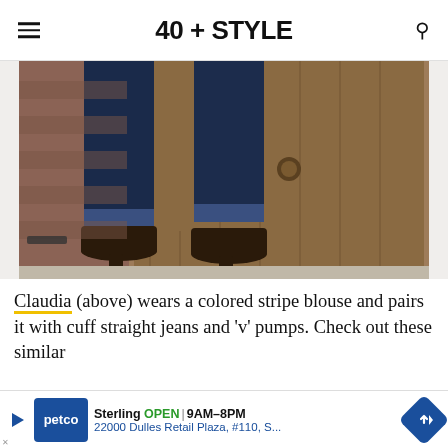40 + STYLE
[Figure (photo): Photo of legs wearing dark navy cuffed straight jeans and dark brown block-heel pumps, standing in front of a rustic wooden door]
Claudia (above) wears a colored stripe blouse and pairs it with cuff straight jeans and 'v' pumps. Check out these similar he
Sterling OPEN | 9AM–8PM 22000 Dulles Retail Plaza, #110, S... [Petco advertisement]